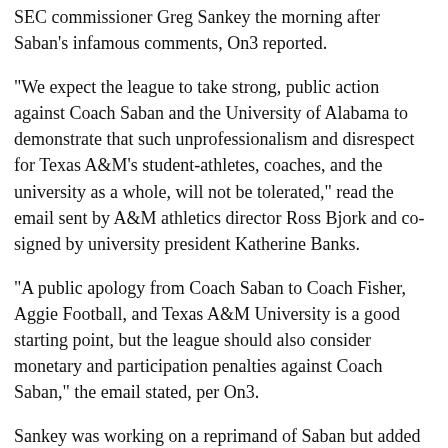SEC commissioner Greg Sankey the morning after Saban's infamous comments, On3 reported.
"We expect the league to take strong, public action against Coach Saban and the University of Alabama to demonstrate that such unprofessionalism and disrespect for Texas A&M's student-athletes, coaches, and the university as a whole, will not be tolerated," read the email sent by A&M athletics director Ross Bjork and co-signed by university president Katherine Banks.
"A public apology from Coach Saban to Coach Fisher, Aggie Football, and Texas A&M University is a good starting point, but the league should also consider monetary and participation penalties against Coach Saban," the email stated, per On3.
Sankey was working on a reprimand of Saban but added A&M coach Jimbo Fisher to it after the latter's press conference, when he said "somebody should have slapped" Saban, among other jabs.